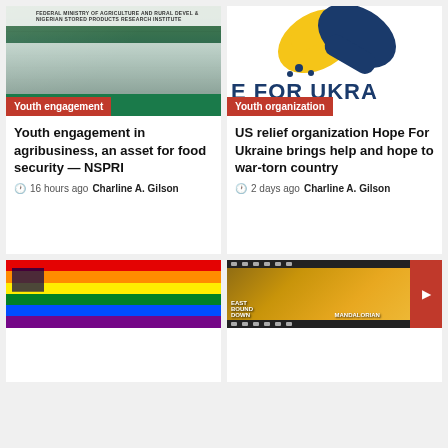[Figure (photo): Group photo at Federal Ministry of Agriculture and Rural Development and Nigerian Stored Products Research Institute event, people seated at a table with green cloth]
Youth engagement
Youth engagement in agribusiness, an asset for food security — NSPRI
🕐  16 hours ago  Charline A. Gilson
[Figure (logo): Hope For Ukraine logo — yellow and blue handshake icon with text 'E FOR UKRA' visible]
Youth organization
US relief organization Hope For Ukraine brings help and hope to war-torn country
🕐  2 days ago  Charline A. Gilson
[Figure (photo): Rainbow pride flag with American flag stars overlay in top-left corner]
[Figure (photo): Film strip showing East Bound Down and Mandalorian movie posters with a red play button box on right]